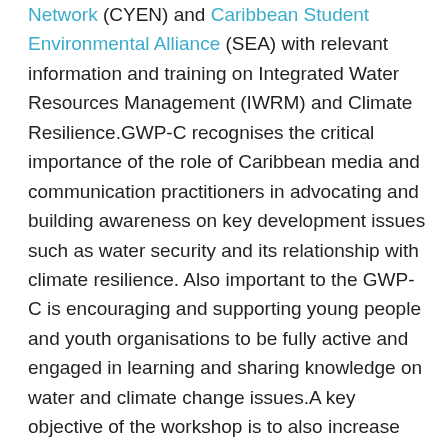Network (CYEN) and Caribbean Student Environmental Alliance (SEA) with relevant information and training on Integrated Water Resources Management (IWRM) and Climate Resilience.GWP-C recognises the critical importance of the role of Caribbean media and communication practitioners in advocating and building awareness on key development issues such as water security and its relationship with climate resilience. Also important to the GWP-C is encouraging and supporting young people and youth organisations to be fully active and engaged in learning and sharing knowledge on water and climate change issues.A key objective of the workshop is to also increase dialogue and knowledge exchange between media and communication practitioners and youth groups working on climate and water issues in the Caribbean.Special thanks to our partner, the Fondes Amandes Community Reforestation Project (FACRP) who collaborated with us to facilitate the